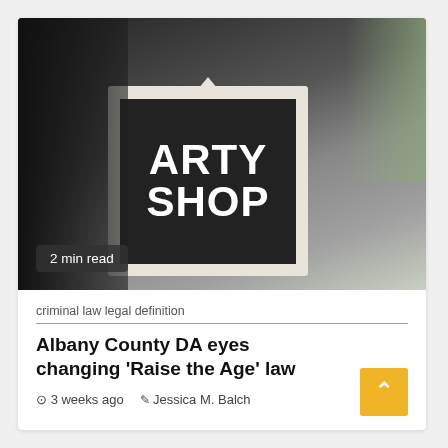[Figure (photo): Close-up photo of a black sign reading 'ARTY SHOP' in white bold letters on a dark background, with a triangular top. Background includes dark framing elements and a blurred green area on the right.]
2 min read
criminal law legal definition
Albany County DA eyes changing ‘Raise the Age’ law
3 weeks ago   Jessica M. Balch